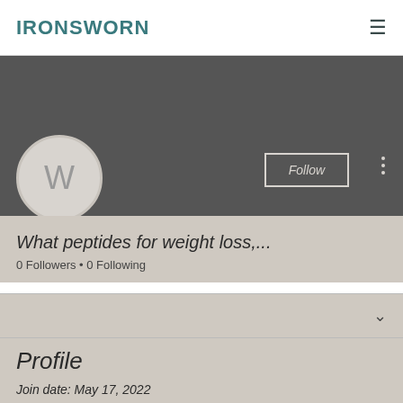IRONSWORN
[Figure (illustration): Dark gray banner background for user profile header]
[Figure (illustration): Circular avatar with letter W on beige background]
Follow
What peptides for weight loss,...
0 Followers • 0 Following
Profile
Join date: May 17, 2022
About